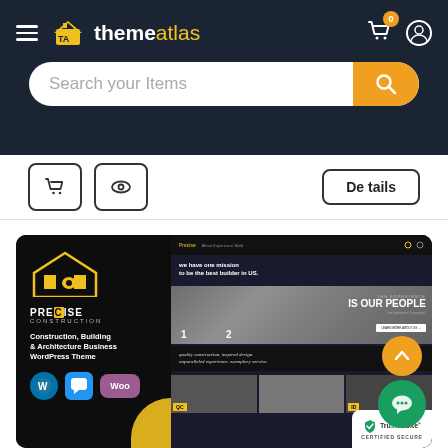themeatlas navigation bar with logo, cart icon, and search bar
[Figure (screenshot): ThemeAtlas website screenshot showing navigation bar with hamburger menu, themeatlas logo in yellow/white, cart with orange badge showing 0, user icon, and search bar with orange search button. Below shows product action buttons (cart, eye) and a Details button. Main content shows a WordPress theme preview for 'Precise Construction' - Construction, Building & Architecture Business WordPress Theme with WP, chat, and WooCommerce plugin logos. Right side shows the theme's website mockup with 'IS OUR PEOPLE' text. Orange scroll-up button and green chat button visible. TrustedSite Certified Secure badge in corner.]